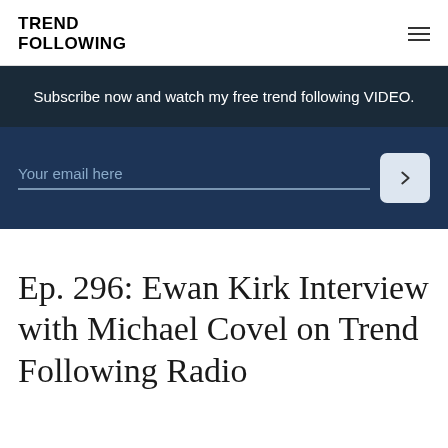TREND FOLLOWING
Subscribe now and watch my free trend following VIDEO.
Your email here
Ep. 296: Ewan Kirk Interview with Michael Covel on Trend Following Radio